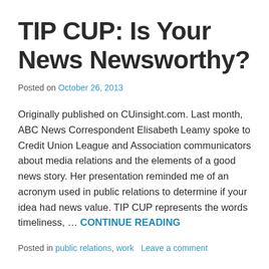TIP CUP: Is Your News Newsworthy?
Posted on October 26, 2013
Originally published on CUinsight.com. Last month, ABC News Correspondent Elisabeth Leamy spoke to Credit Union League and Association communicators about media relations and the elements of a good news story. Her presentation reminded me of an acronym used in public relations to determine if your idea had news value. TIP CUP represents the words timeliness, … CONTINUE READING
Posted in public relations, work   Leave a comment